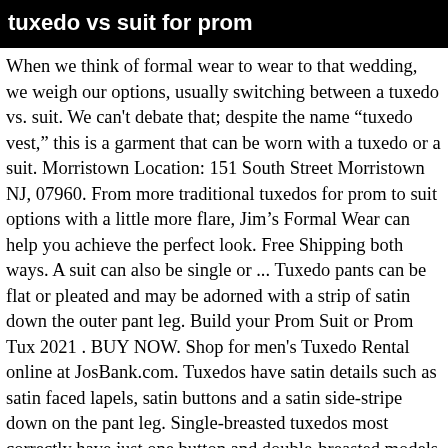tuxedo vs suit for prom
When we think of formal wear to wear to that wedding, we weigh our options, usually switching between a tuxedo vs. suit. We can't debate that; despite the name “tuxedo vest,” this is a garment that can be worn with a tuxedo or a suit. Morristown Location: 151 South Street Morristown NJ, 07960. From more traditional tuxedos for prom to suit options with a little more flare, Jim’s Formal Wear can help you achieve the perfect look. Free Shipping both ways. A suit can also be single or ... Tuxedo pants can be flat or pleated and may be adorned with a strip of satin down the outer pant leg. Build your Prom Suit or Prom Tux 2021 . BUY NOW. Shop for men's Tuxedo Rental online at JosBank.com. Tuxedos have satin details such as satin faced lapels, satin buttons and a satin side-stripe down on the pant leg. Single-breasted tuxedos most correctly have just one button and double-breasted models will typically feature either two buttons or four. Again, tuxedos are technically semi-formal garments, with the “formal” space being occupied by white tie. Suit Vs Tuxedo –